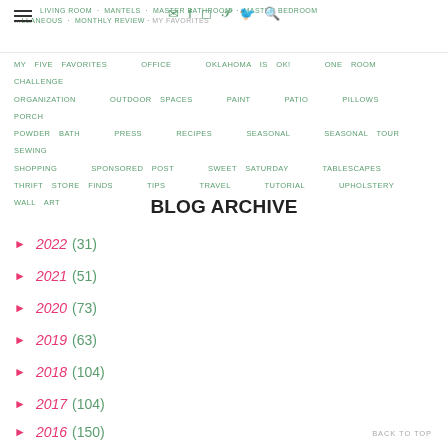LIVING ROOM · MANTELS · MASTER BATHROOM · MASTER BEDROOM · MISCELLANEOUS · MONTHLY REVIEW · MY FAVORITES · MY FIVE FAVORITES · OFFICE · OKLAHOMA IS OK! · ONE ROOM CHALLENGE · ORGANIZATION · OUTDOOR SPACES · PAINT · PATIO · PILLOWS · PORCH · POWDER BATH · PRESS · RECIPES · SEASONAL · SEASONAL TOUR · SEWING · SHOPPING · SPONSORED POST · SWEET SATURDAY · TABLESCAPES · THRIFT STORE FINDS · TIPS · TRAVEL · TUTORIAL · UPHOLSTERY · WALL ART
BLOG ARCHIVE
2022 (31)
2021 (51)
2020 (73)
2019 (63)
2018 (104)
2017 (104)
2016 (150)
BACK TO TOP